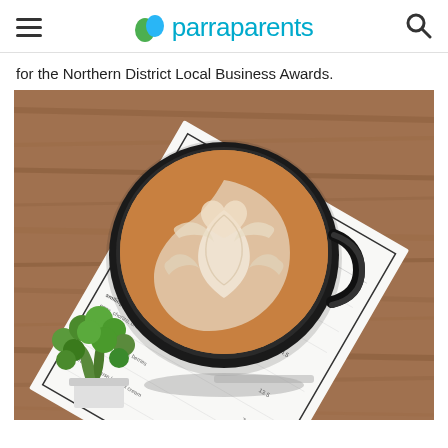parraparents
for the Northern District Local Business Awards.
[Figure (photo): Overhead view of a latte in a black cup with latte art on a wooden table, next to a small green plant and a cafe menu paper (The Missing Piece).]